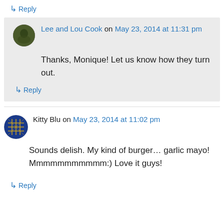↳ Reply
Lee and Lou Cook on May 23, 2014 at 11:31 pm
Thanks, Monique! Let us know how they turn out.
↳ Reply
Kitty Blu on May 23, 2014 at 11:02 pm
Sounds delish. My kind of burger… garlic mayo! Mmmmmmmmmmm:) Love it guys!
↳ Reply